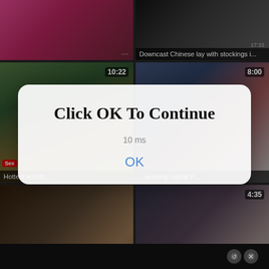[Figure (screenshot): Video thumbnail grid showing adult content website with popup dialog. Top row: two video thumbnails. Middle row: two video thumbnails with durations 10:22 and 8:00. Bottom row: two video thumbnails with duration 4:35. A modal dialog overlays center reading 'Click OK To Continue' with an OK button. Video captions include 'Hottest and N...', 'Downcast Chinese lay with stockings i...', 'Mature Powered Slut Cum-hole Screwed', 'Legal age teenager girl together with a...']